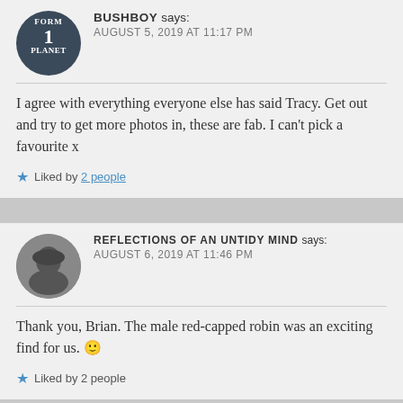BUSHBOY says: AUGUST 5, 2019 AT 11:17 PM
I agree with everything everyone else has said Tracy. Get out and try to get more photos in, these are fab. I can't pick a favourite x
Liked by 2 people
REFLECTIONS OF AN UNTIDY MIND says: AUGUST 6, 2019 AT 11:46 PM
Thank you, Brian. The male red-capped robin was an exciting find for us. 🙂
Liked by 2 people